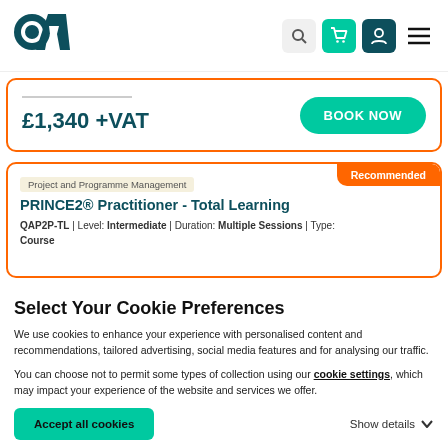QA logo and navigation icons
£1,340 +VAT
BOOK NOW
Recommended
Project and Programme Management
PRINCE2® Practitioner - Total Learning
QAP2P-TL | Level: Intermediate | Duration: Multiple Sessions | Type: Course
Select Your Cookie Preferences
We use cookies to enhance your experience with personalised content and recommendations, tailored advertising, social media features and for analysing our traffic.
You can choose not to permit some types of collection using our cookie settings, which may impact your experience of the website and services we offer.
Accept all cookies
Show details